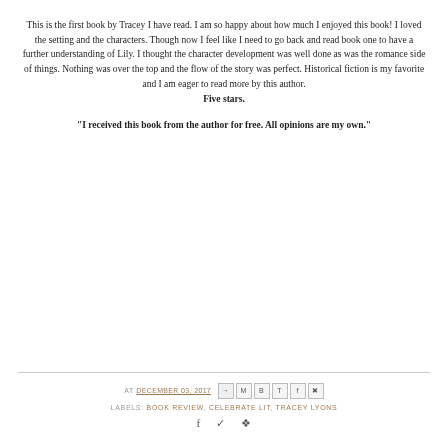This is the first book by Tracey I have read. I am so happy about how much I enjoyed this book! I loved the setting and the characters. Though now I feel like I need to go back and read book one to have a further understanding of Lily. I thought the character development was well done as was the romance side of things. Nothing was over the top and the flow of the story was perfect. Historical fiction is my favorite and I am eager to read more by this author. Five stars.
"I received this book from the author for free. All opinions are my own."
AT DECEMBER 03, 2017  LABELS: BOOK REVIEW, CELEBRATE LIT, TRACEY LYONS